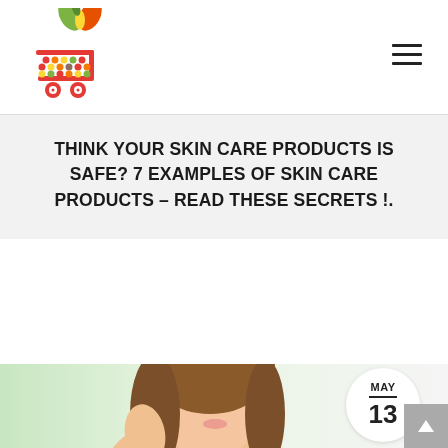[Figure (logo): Shopping cart logo with colorful dots and a butterfly/leaf icon on top, in red and multicolor]
[Figure (other): Hamburger menu icon (three horizontal lines) in top right corner]
THINK YOUR SKIN CARE PRODUCTS IS SAFE? 7 EXAMPLES OF SKIN CARE PRODUCTS – READ THESE SECRETS !.
[Figure (photo): Young Asian woman smiling and touching her face/shoulder, soft green/white blurred background, with a date badge showing MAY 13 overlaid in the top right corner of the image area]